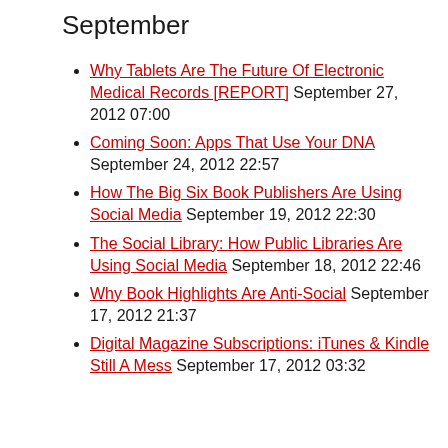September
Why Tablets Are The Future Of Electronic Medical Records [REPORT] September 27, 2012 07:00
Coming Soon: Apps That Use Your DNA September 24, 2012 22:57
How The Big Six Book Publishers Are Using Social Media September 19, 2012 22:30
The Social Library: How Public Libraries Are Using Social Media September 18, 2012 22:46
Why Book Highlights Are Anti-Social September 17, 2012 21:37
Digital Magazine Subscriptions: iTunes & Kindle Still A Mess September 17, 2012 03:32